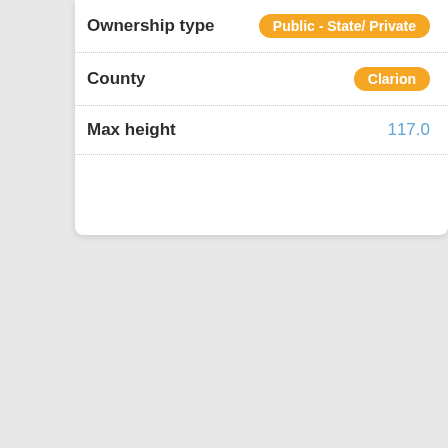| Field | Value |
| --- | --- |
| Ownership type | Public - State/ Private |
| County | Clarion |
| Max height | 117.0 |